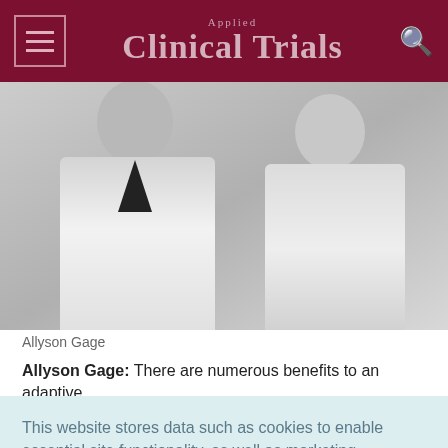Applied Clinical Trials
[Figure (photo): Two people wearing white lab coats, black and white photograph, cropped at torso level]
Allyson Gage
Allyson Gage: There are numerous benefits to an adaptive
This website stores data such as cookies to enable essential site functionality, as well as marketing, personalization, and analytics. Cookie Policy
Accept
Deny